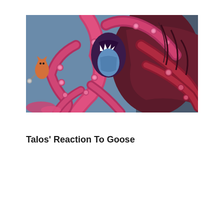[Figure (illustration): Comic book style illustration of a large pink/magenta octopus-like creature with many tentacles featuring suckers, shown in a confrontational pose. The background is blue-grey. On the left side, a small orange cat-like figure (Goose) is visible. The art style is bold, colorful comic book artwork.]
Talos' Reaction To Goose